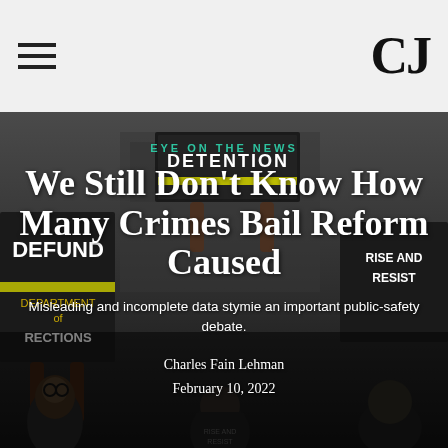CJ
[Figure (photo): Protest scene with people holding signs including 'DETENTION' and 'DEFUND' in a crowd setting, dark toned photograph used as article hero image]
EYE ON THE NEWS
We Still Don't Know How Many Crimes Bail Reform Caused
Misleading and incomplete data stymie an important public-safety debate.
Charles Fain Lehman
February 10, 2022